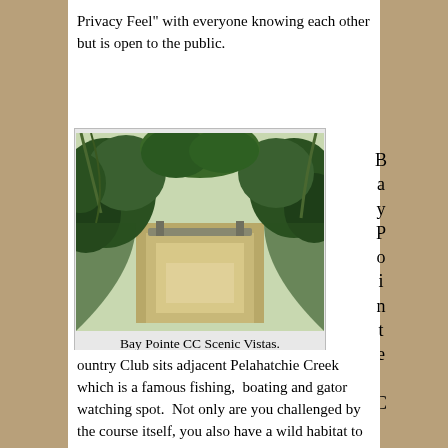Privacy Feel” with everyone knowing each other but is open to the public.
[Figure (photo): Photo of Bay Pointe CC scenic view showing a creek or waterway surrounded by green trees and vegetation, with a bridge visible in the background.]
Bay Pointe CC Scenic Vistas.
Bay Pointe Country Club sits adjacent Pelahatchie Creek which is a famous fishing,  boating and gator watching spot.  Not only are you challenged by the course itself, you also have a wild habitat to keep you occupied while you are playing. For more pictures, take a look at the holes through our pic lens gallery: